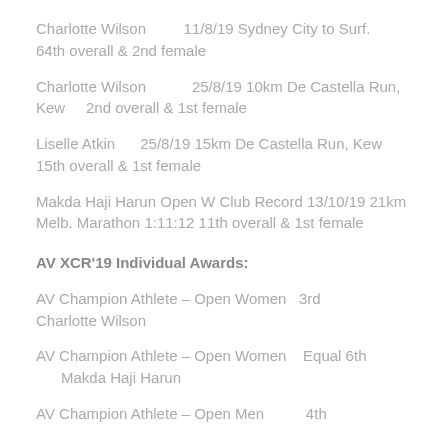Charlotte Wilson         11/8/19 Sydney City to Surf. 64th overall & 2nd female
Charlotte Wilson            25/8/19 10km De Castella Run, Kew       2nd overall & 1st female
Liselle Atkin       25/8/19 15km De Castella Run, Kew 15th overall & 1st female
Makda Haji Harun Open W Club Record 13/10/19 21km Melb. Marathon 1:11:12 11th overall & 1st female
AV XCR'19 Individual Awards:
AV Champion Athlete – Open Women    3rd Charlotte Wilson
AV Champion Athlete – Open Women     Equal 6th        Makda Haji Harun
AV Champion Athlete – Open Men            4th